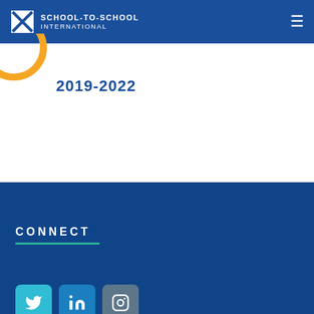SCHOOL-TO-SCHOOL INTERNATIONAL
2019-2022
CONNECT
[Figure (logo): Twitter, LinkedIn, and Instagram social media icon buttons]
[Figure (illustration): Orange arc/circle graphic element partially visible at top of white content area]